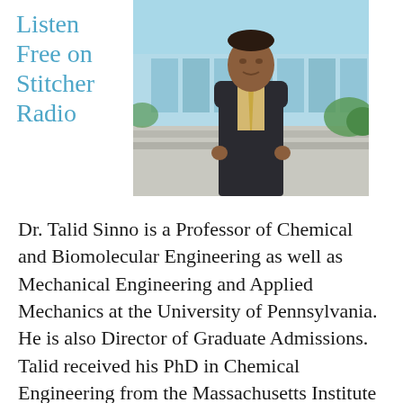Listen Free on Stitcher Radio
[Figure (photo): Portrait photo of Dr. Talid Sinno, a man in a dark suit and yellow tie standing outdoors near a building with glass windows and greenery in the background.]
Dr. Talid Sinno is a Professor of Chemical and Biomolecular Engineering as well as Mechanical Engineering and Applied Mechanics at the University of Pennsylvania. He is also Director of Graduate Admissions. Talid received his PhD in Chemical Engineering from the Massachusetts Institute of Technology